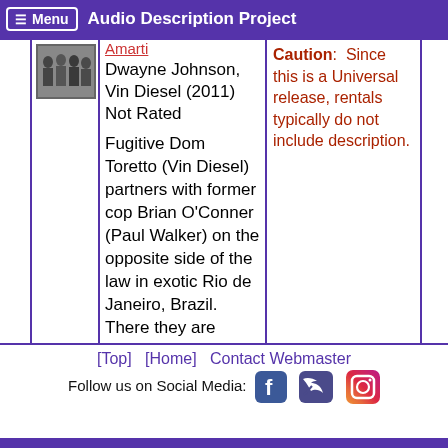Menu  Audio Description Project
[Figure (photo): Small movie cover thumbnail showing group of people]
Dwayne Johnson, Vin Diesel (2011) Not Rated
Fugitive Dom Toretto (Vin Diesel) partners with former cop Brian O'Conner (Paul Walker) on the opposite side of the law in exotic Rio de Janeiro, Brazil. There they are hunted by a high-powered US strike force led by their toughest Fed (Dwayne Johnson) and an army of corrupt cops working for a ruthless drug
Caution: Since this is a Universal release, rentals typically do not include description.
[Top]  [Home]  Contact Webmaster
Follow us on Social Media: [Facebook] [Twitter] [Instagram]